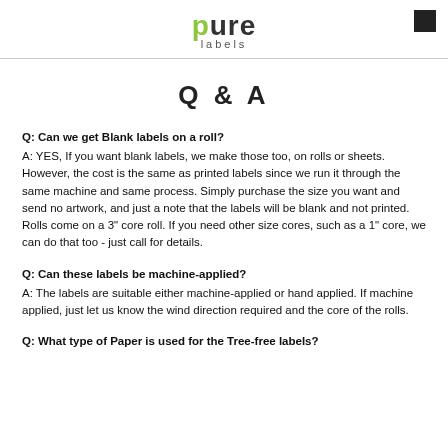pure labels
Q & A
Q: Can we get Blank labels on a roll?
A: YES, If you want blank labels, we make those too, on rolls or sheets. However, the cost is the same as printed labels since we run it through the same machine and same process. Simply purchase the size you want and send no artwork, and just a note that the labels will be blank and not printed. Rolls come on a 3" core roll. If you need other size cores, such as a 1" core, we can do that too - just call for details.
Q: Can these labels be machine-applied?
A: The labels are suitable either machine-applied or hand applied. If machine applied, just let us know the wind direction required and the core of the rolls.
Q: What type of Paper is used for the Tree-free labels?